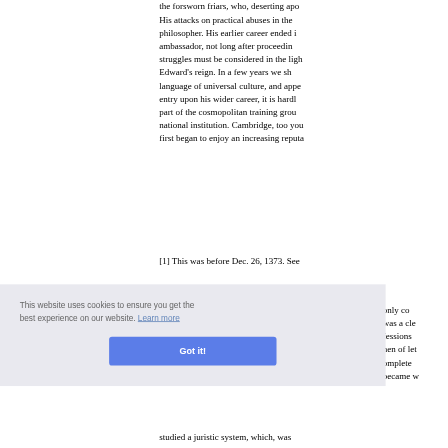the forsworn friars, who, deserting apo... His attacks on practical abuses in the philosopher. His earlier career ended i... ambassador, not long after proceedin... struggles must be considered in the ligh... Edward's reign. In a few years we sh... language of universal culture, and appe... entry upon his wider career, it is hardl... part of the cosmopolitan training grou... national institution. Cambridge, too you... first began to enjoy an increasing reputa...
[1] This was before Dec. 26, 1373. See ...
only co... was a cle... fessions ... nen of let... omplete ... became w... studied a juristic system, which, was...
This website uses cookies to ensure you get the best experience on our website. Learn more